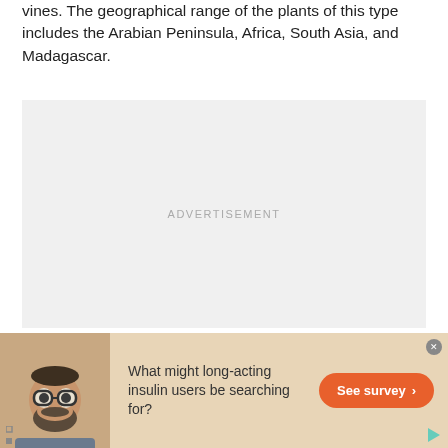vines. The geographical range of the plants of this type includes the Arabian Peninsula, Africa, South Asia, and Madagascar.
[Figure (other): Advertisement placeholder box with light gray background and centered ADVERTISEMENT label]
[Figure (infographic): Advertisement banner with tan/beige background showing a bearded man with glasses, text 'What might long-acting insulin users be searching for?' and an orange 'See survey' button]